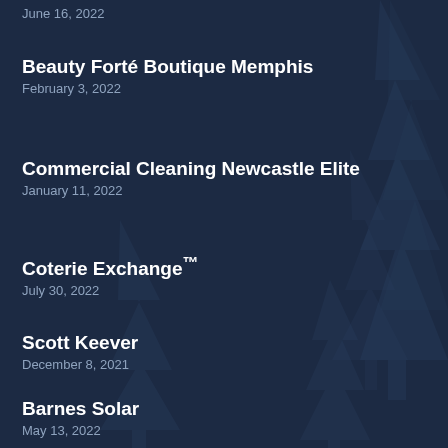June 16, 2022
Beauty Forté Boutique Memphis
February 3, 2022
Commercial Cleaning Newcastle Elite
January 11, 2022
Coterie Exchange™
July 30, 2022
Scott Keever
December 8, 2021
Barnes Solar
May 13, 2022